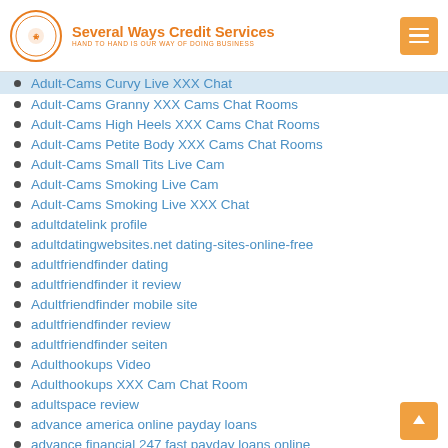Several Ways Credit Services — HAND TO HAND IS OUR WAY OF DOING BUSINESS
Adult-Cams Curvy Live XXX Chat
Adult-Cams Granny XXX Cams Chat Rooms
Adult-Cams High Heels XXX Cams Chat Rooms
Adult-Cams Petite Body XXX Cams Chat Rooms
Adult-Cams Small Tits Live Cam
Adult-Cams Smoking Live Cam
Adult-Cams Smoking Live XXX Chat
adultdatelink profile
adultdatingwebsites.net dating-sites-online-free
adultfriendfinder dating
adultfriendfinder it review
Adultfriendfinder mobile site
adultfriendfinder review
adultfriendfinder seiten
Adulthookups Video
Adulthookups XXX Cam Chat Room
adultspace review
advance america online payday loans
advance financial 247 fast payday loans online